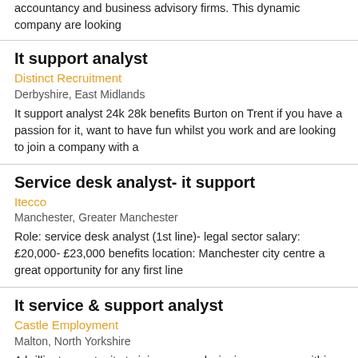accountancy and business advisory firms. This dynamic company are looking
It support analyst
Distinct Recruitment
Derbyshire, East Midlands
It support analyst 24k 28k benefits Burton on Trent if you have a passion for it, want to have fun whilst you work and are looking to join a company with a
Service desk analyst- it support
Itecco
Manchester, Greater Manchester
Role: service desk analyst (1st line)- legal sector salary: £20,000- £23,000 benefits location: Manchester city centre a great opportunity for any first line
It service & support analyst
Castle Employment
Malton, North Yorkshire
A brilliant opportunity to join an award winning company within the food industry in a fast paced, varied role based in Malton, North Yorkshire, working as an IT
It technical support analyst
Curve Group Holdings
City of London, Central London